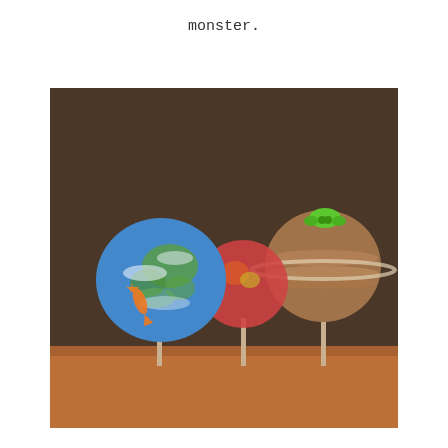monster.
[Figure (photo): Three cake pops on sticks arranged on a wooden surface against a dark brown background. The left one is decorated to look like Earth with blue, green, and white colors and an orange star and comet shape. The middle one is reddish-pink with yellow spots resembling Mars or a planet. The right one is brown with white horizontal stripes like Saturn and has a green alien/UFO decoration on top.]